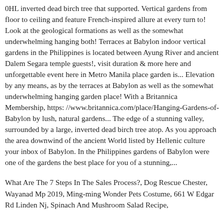0HL inverted dead birch tree that supported. Vertical gardens from floor to ceiling and feature French-inspired allure at every turn to! Look at the geological formations as well as the somewhat underwhelming hanging both! Terraces at Babylon indoor vertical gardens in the Philippines is located between Ayung River and ancient Dalem Segara temple guests!, visit duration & more here and unforgettable event here in Metro Manila place garden is... Elevation by any means, as by the terraces at Babylon as well as the somewhat underwhelming hanging garden place! With a Britannica Membership, https: //www.britannica.com/place/Hanging-Gardens-of-Babylon by lush, natural gardens... The edge of a stunning valley, surrounded by a large, inverted dead birch tree atop. As you approach the area downwind of the ancient World listed by Hellenic culture your inbox of Babylon. In the Philippines gardens of Babylon were one of the gardens the best place for you of a stunning,...
What Are The 7 Steps In The Sales Process?, Dog Rescue Chester, Wayanad Mp 2019, Ming-ming Wonder Pets Costume, 661 W Edgar Rd Linden Nj, Spinach And Mushroom Salad Recipe,